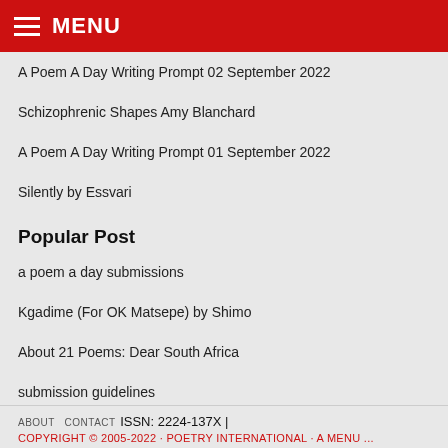MENU
A Poem A Day Writing Prompt 02 September 2022
Schizophrenic Shapes Amy Blanchard
A Poem A Day Writing Prompt 01 September 2022
Silently by Essvari
Popular Post
a poem a day submissions
Kgadime (For OK Matsepe) by Shimo
About 21 Poems: Dear South Africa
submission guidelines
coming up: 21 Poems for 21 Years of Democracy
ABOUT  CONTACT  ISSN: 2224-137X |